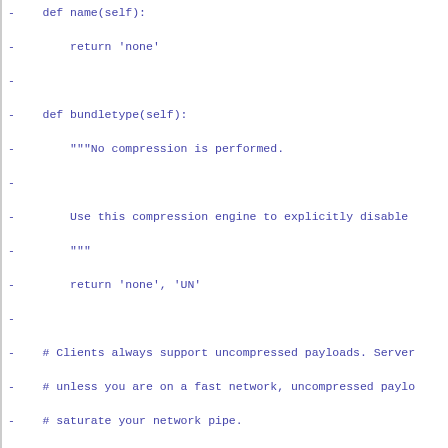[Figure (screenshot): Code diff snippet showing Python class methods: name, bundletype, wireprotosupport, compressstream, decompressorreader, nooprevlogcompressor, and revlogcompressor, all prefixed with '-' indicating removed lines in a diff.]